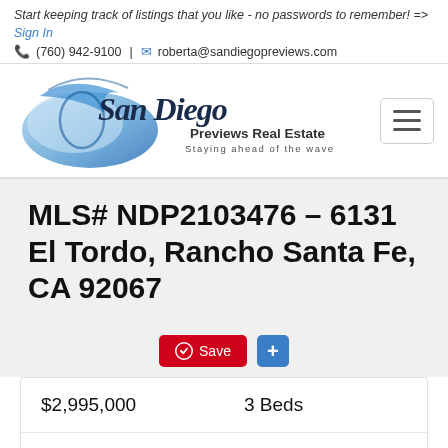Start keeping track of listings that you like - no passwords to remember! => Sign In
☎ (760) 942-9100 | ✉ roberta@sandiegopreviews.com
[Figure (logo): San Diego Previews Real Estate logo with wave graphic and tagline 'Staying ahead of the wave']
MLS# NDP2103476 – 6131 El Tordo, Rancho Santa Fe, CA 92067
| $2,995,000 | 3 Beds |
| 3, 2 half Baths | 3,325 SqFt |